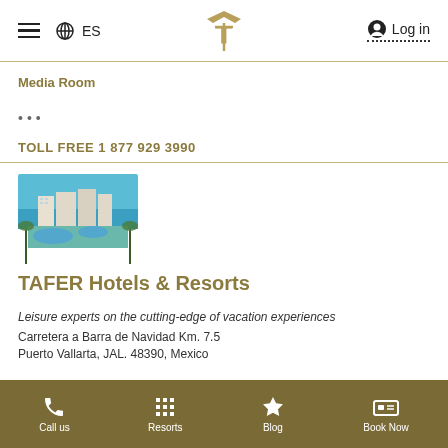≡  🌐 ES  [TAFER Logo]  🔘 Log in
Media Room
•••
TOLL FREE 1 877 929 3990
[Figure (photo): Aerial view of TAFER Hotels & Resorts property with swimming pools and ocean view]
TAFER Hotels & Resorts
Leisure experts on the cutting-edge of vacation experiences
Carretera a Barra de Navidad Km. 7.5
Puerto Vallarta, JAL. 48390, Mexico
Call us  Resorts  Blog  Book Now